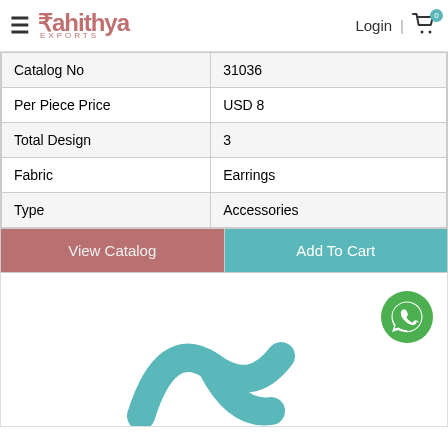Rahithya Exports — Login | Cart (0)
| Catalog No | 31036 |
| Per Piece Price | USD 8 |
| Total Design | 3 |
| Fabric | Earrings |
| Type | Accessories |
[Figure (screenshot): View Catalog and Add To Cart buttons]
[Figure (logo): WhatsApp icon (green circle with phone handset) and Rahithya Exports teal logo mark at bottom of page]